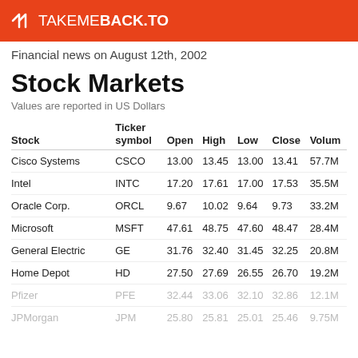TAKEMEBACK.TO
Financial news on August 12th, 2002
Stock Markets
Values are reported in US Dollars
| Stock | Ticker symbol | Open | High | Low | Close | Volume |
| --- | --- | --- | --- | --- | --- | --- |
| Cisco Systems | CSCO | 13.00 | 13.45 | 13.00 | 13.41 | 57.7M |
| Intel | INTC | 17.20 | 17.61 | 17.00 | 17.53 | 35.5M |
| Oracle Corp. | ORCL | 9.67 | 10.02 | 9.64 | 9.73 | 33.2M |
| Microsoft | MSFT | 47.61 | 48.75 | 47.60 | 48.47 | 28.4M |
| General Electric | GE | 31.76 | 32.40 | 31.45 | 32.25 | 20.8M |
| Home Depot | HD | 27.50 | 27.69 | 26.55 | 26.70 | 19.2M |
| Pfizer | PFE | 32.44 | 33.06 | 32.10 | 32.86 | 12.1M |
| JPMorgan | JPM | 25.80 | 25.81 | 25.01 | 25.46 | 9.75M |